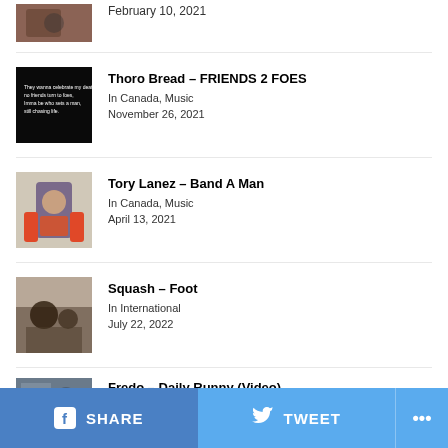February 10, 2021
Thoro Bread – FRIENDS 2 FOES
In Canada, Music
November 26, 2021
Tory Lanez – Band A Man
In Canada, Music
April 13, 2021
Squash – Foot
In International
July 22, 2022
Fredo – Daily Runny (Video)